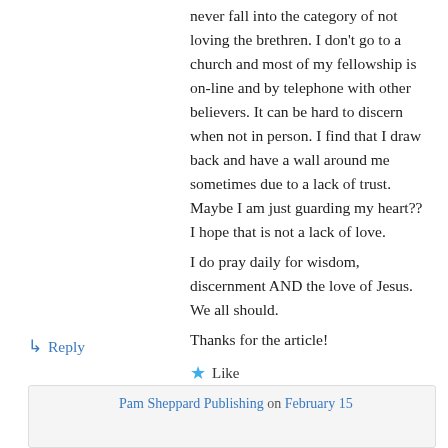never fall into the category of not loving the brethren. I don't go to a church and most of my fellowship is on-line and by telephone with other believers. It can be hard to discern when not in person. I find that I draw back and have a wall around me sometimes due to a lack of trust. Maybe I am just guarding my heart?? I hope that is not a lack of love.
I do pray daily for wisdom, discernment AND the love of Jesus. We all should.
Thanks for the article!
★ Like
↳ Reply
Pam Sheppard Publishing on February 15